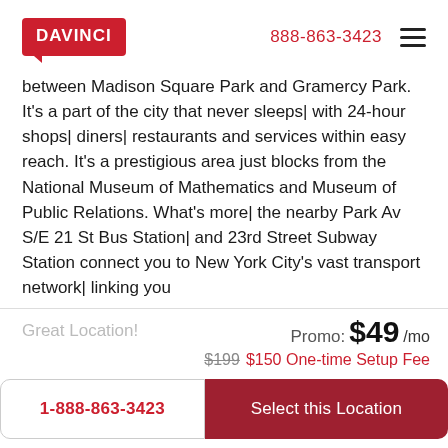DAVINCI  888-863-3423
between Madison Square Park and Gramercy Park. It's a part of the city that never sleeps| with 24-hour shops| diners| restaurants and services within easy reach. It's a prestigious area just blocks from the National Museum of Mathematics and Museum of Public Relations. What's more| the nearby Park Av S/E 21 St Bus Station| and 23rd Street Subway Station connect you to New York City's vast transport network| linking you to every location in the city...
Great Location!
Promo: $49/mo  $199 $150 One-time Setup Fee
1-888-863-3423
Select this Location